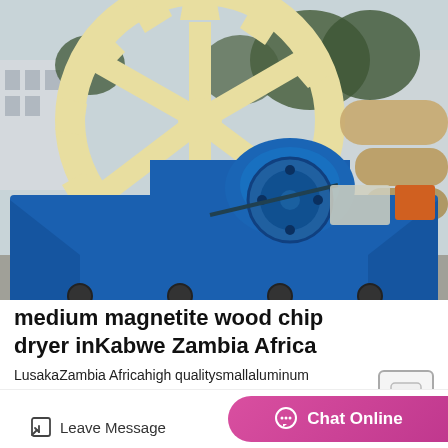[Figure (photo): Industrial machinery photo showing a blue metal washing/processing machine with a large cream/yellow gear wheel in the background, photographed outdoors in what appears to be a factory yard.]
medium magnetite wood chip dryer inKabwe Zambia Africa
LusakaZambia Africahigh qualitysmallaluminum hydroxide. LusakaZambia Africahigh